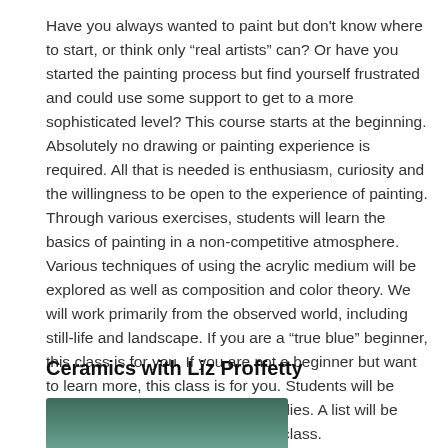Have you always wanted to paint but don't know where to start, or think only “real artists” can? Or have you started the painting process but find yourself frustrated and could use some support to get to a more sophisticated level? This course starts at the beginning. Absolutely no drawing or painting experience is required. All that is needed is enthusiasm, curiosity and the willingness to be open to the experience of painting. Through various exercises, students will learn the basics of painting in a non-competitive atmosphere. Various techniques of using the acrylic medium will be explored as well as composition and color theory. We will work primarily from the observed world, including still-life and landscape. If you are a “true blue” beginner, this class is for you. If you are not a beginner but want to learn more, this class is for you. Students will be expected to provide their own supplies. A list will be provided and explained in the first class.
Ceramics with Liz Proffetty
[Figure (photo): Partial photo of a person or ceramic artwork, cropped at bottom of page]